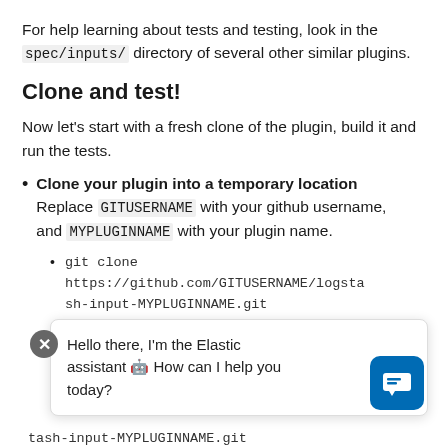For help learning about tests and testing, look in the spec/inputs/ directory of several other similar plugins.
Clone and test!
Now let's start with a fresh clone of the plugin, build it and run the tests.
Clone your plugin into a temporary location Replace GITUSERNAME with your github username, and MYPLUGINNAME with your plugin name.
git clone https://github.com/GITUSERNAME/logstash-input-MYPLUGINNAME.git
... tash-input-MYPLUGINNAME.git
Hello there, I'm the Elastic assistant 🤖 How can I help you today?